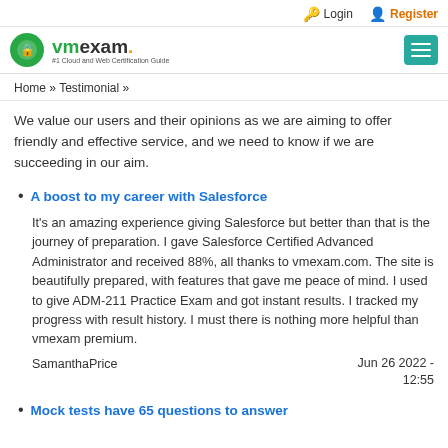Login  Register
[Figure (logo): vmexam.com logo with green circle icon and tagline '#1 Cloud and Web Certification Guide']
Home » Testimonial »
We value our users and their opinions as we are aiming to offer friendly and effective service, and we need to know if we are succeeding in our aim.
A boost to my career with Salesforce
It's an amazing experience giving Salesforce but better than that is the journey of preparation. I gave Salesforce Certified Advanced Administrator and received 88%, all thanks to vmexam.com. The site is beautifully prepared, with features that gave me peace of mind. I used to give ADM-211 Practice Exam and got instant results. I tracked my progress with result history. I must there is nothing more helpful than vmexam premium.
SamanthaPrice    Jun 26 2022 - 12:55
Mock tests have 65 questions to answer